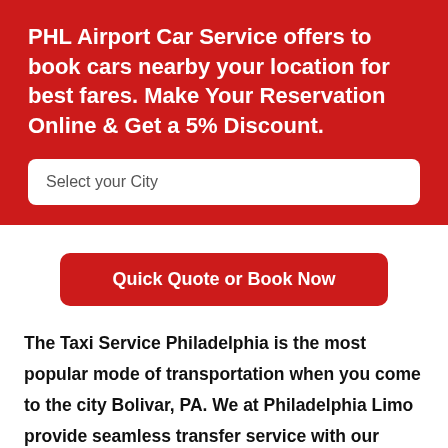PHL Airport Car Service offers to book cars nearby your location for best fares. Make Your Reservation Online & Get a 5% Discount.
Select your City
Quick Quote or Book Now
The Taxi Service Philadelphia is the most popular mode of transportation when you come to the city Bolivar, PA. We at Philadelphia Limo provide seamless transfer service with our extensive range of high-end luxury fleet starting from the sedan, SUVs, luxury vans, and limousines. With Philadelphia Airport Car Service for your service, we